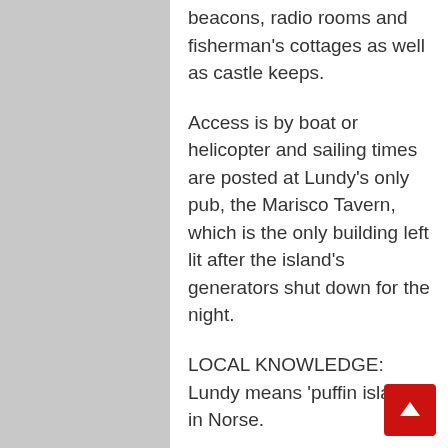beacons, radio rooms and fisherman's cottages as well as castle keeps.
Access is by boat or helicopter and sailing times are posted at Lundy's only pub, the Marisco Tavern, which is the only building left lit after the island's generators shut down for the night.
LOCAL KNOWLEDGE: Lundy means 'puffin island' in Norse.
HOW TO DO IT: A night's stay is from £32pp (landmarktrust.org.uk/lundyisland). In the summer, the MS Oldenburg departs several times a week from Bideford or from Ilfracombe with returns costing from £70